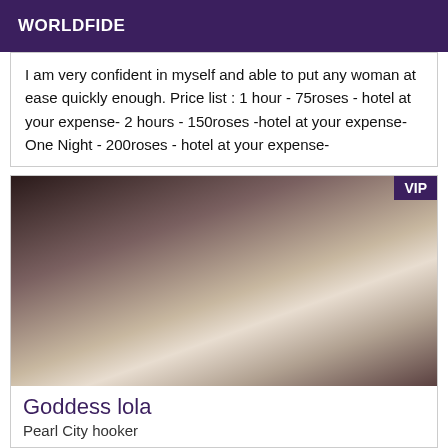WORLDFIDE
I am very confident in myself and able to put any woman at ease quickly enough. Price list : 1 hour - 75roses - hotel at your expense- 2 hours - 150roses -hotel at your expense- One Night - 200roses - hotel at your expense-
[Figure (photo): Photo of a person, with a VIP badge in the top right corner]
Goddess lola
Pearl City hooker